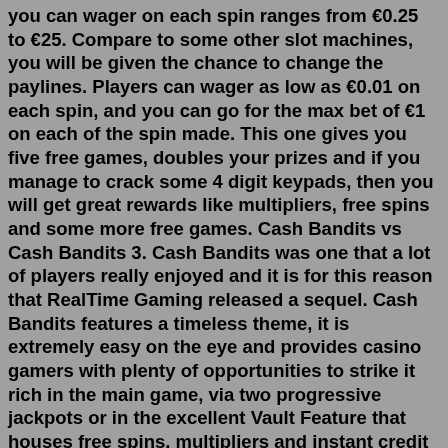you can wager on each spin ranges from €0.25 to €25. Compare to some other slot machines, you will be given the chance to change the paylines. Players can wager as low as €0.01 on each spin, and you can go for the max bet of €1 on each of the spin made. This one gives you five free games, doubles your prizes and if you manage to crack some 4 digit keypads, then you will get great rewards like multipliers, free spins and some more free games. Cash Bandits vs Cash Bandits 3. Cash Bandits was one that a lot of players really enjoyed and it is for this reason that RealTime Gaming released a sequel. Cash Bandits features a timeless theme, it is extremely easy on the eye and provides casino gamers with plenty of opportunities to strike it rich in the main game, via two progressive jackpots or in the excellent Vault Feature that houses free spins, multipliers and instant credit prizes. MORE RealTime Gaming CasinosPlaying Cash Bandits 2 - was down to $2.85 from a $50 deposit, when I won 105 FS with a x7 multiplier on a $0.75 stake. The end result was $143.25 - x191 stake. A little